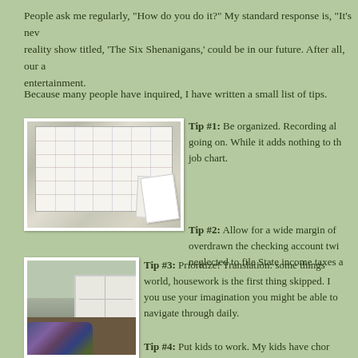People ask me regularly, "How do you do it?"  My standard response is, "It's nev... reality show titled, 'The Six Shenanigans,' could be in our future.  After all, our a... entertainment.
Because many people have inquired, I have written a small list of tips.
[Figure (photo): Photo of a large whiteboard calendar with handwritten entries, papers clipped or pinned to the side.]
Tip #1:  Be organized.  Recording al... going on.  While it adds nothing to th... job chart.
Tip #2:  Allow for a wide margin of ... overdrawn the checking account twi... neglected to file State income taxes a...
[Figure (photo): Photo of a cluttered room/hallway with scattered clothes on the floor and white cabinets visible.]
Tip #3:  Prioritize!  Translation:  some things ... world, housework is the first thing skipped.  I ... you use your imagination you might be able to... navigate through daily.
Tip #4:  Put kids to work.  My kids have chor...